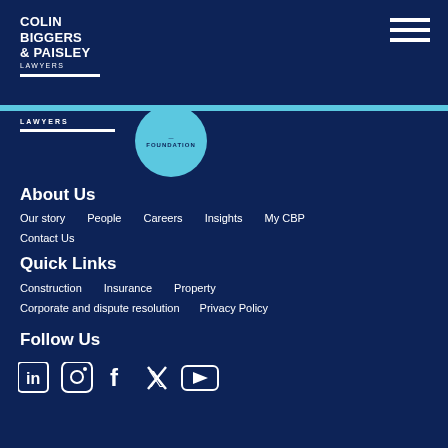[Figure (logo): Colin Biggers & Paisley Lawyers logo with white text and underline on dark navy background]
[Figure (illustration): Hamburger menu icon (three horizontal white lines) in top right corner]
[Figure (illustration): Light blue circular Foundation badge/button in navigation area]
About Us
Our story
People
Careers
Insights
My CBP
Contact Us
Quick Links
Construction
Insurance
Property
Corporate and dispute resolution
Privacy Policy
Follow Us
[Figure (illustration): Social media icons: LinkedIn, Instagram, Facebook, Twitter, YouTube]